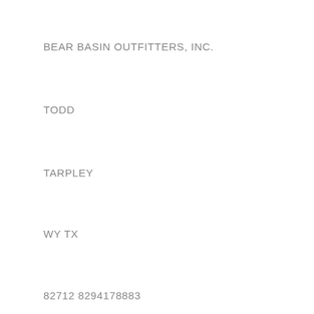BEAR BASIN OUTFITTERS, INC.
TODD
TARPLEY
WY TX
82712 8294178883
WY
82834
PO BOX 569
82729
PO BOX 349
JACKSON
WY